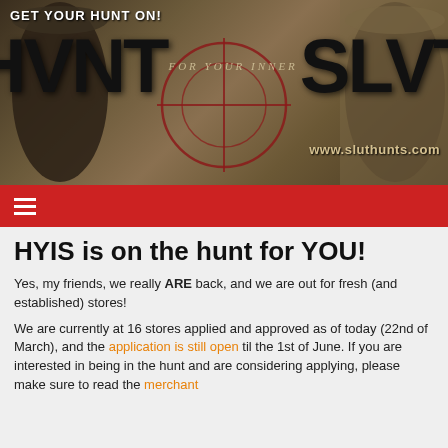[Figure (screenshot): Website banner for 'Hunt for Your Inner Slut' with crosshair graphic, dark textured background, large black block letters reading HUNT and SLUT, italic text FOR YOUR INNER in center, url www.sluthunts.com bottom right, GET YOUR HUNT ON! top left]
≡
HYIS is on the hunt for YOU!
Yes, my friends, we really ARE back, and we are out for fresh (and established) stores!
We are currently at 16 stores applied and approved as of today (22nd of March), and the application is still open til the 1st of June. If you are interested in being in the hunt and are considering applying, please make sure to read the merchant...